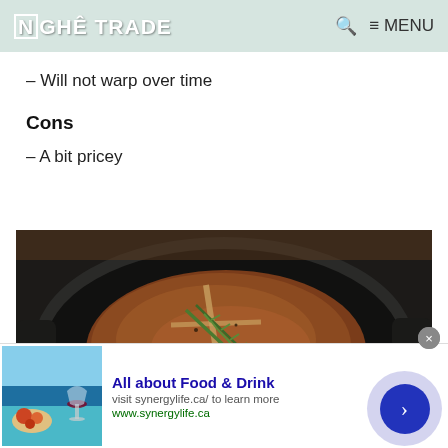NGHÊ TRADE  🔍 ≡ MENU
– Will not warp over time
Cons
– A bit pricey
[Figure (photo): A seasoned T-bone or ribeye steak sizzling in a black cast iron skillet, garnished with rosemary sprigs, photographed from above on a wooden surface.]
All about Food & Drink
visit synergylife.ca/ to learn more
www.synergylife.ca